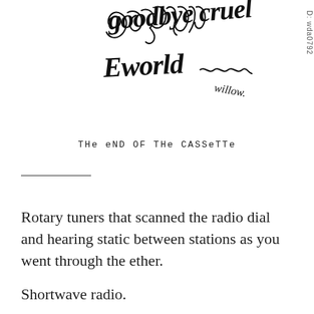[Figure (illustration): Handwritten cursive text reading 'goodbye cruel world' with a wavy line and signature 'willow', with text 'D: wda0792' along right side rotated vertically]
THE eND OF THe CASSeTTE
Rotary tuners that scanned the radio dial and hearing static between stations as you went through the ether.
Shortwave radio.
CB radios.